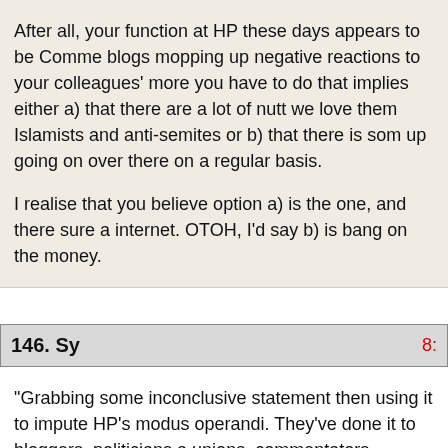After all, your function at HP these days appears to be Comme blogs mopping up negative reactions to your colleagues' more you have to do that implies either a) that there are a lot of nutt we love them Islamists and anti-semites or b) that there is som up going on over there on a regular basis.

I realise that you believe option a) is the one, and there sure a internet. OTOH, I'd say b) is bang on the money.
146. Sy
“Grabbing some inconclusive statement then using it to impute HP’s modus operandi. They’ve done it to bloggers, politicians a unions, commentators, academics, activists, human rights NG host of other people, often on hilariously thin evidence.”

I don’t accept that HP’s writers – as opposed to too many of its Islamophobic. But what FR says here is pretty much undeniab HP so repellent these days. Its primary purpose seems to be t smearing its critics as anti-semites. Obviously Brownie’s aver